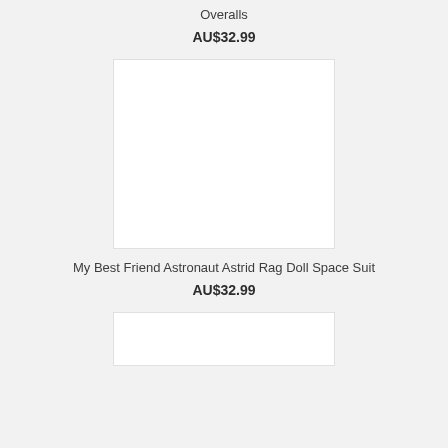Overalls
AU$32.99
[Figure (photo): White product image placeholder for Astronaut Astrid Rag Doll Space Suit]
My Best Friend Astronaut Astrid Rag Doll Space Suit
AU$32.99
[Figure (photo): White product image placeholder for next product]